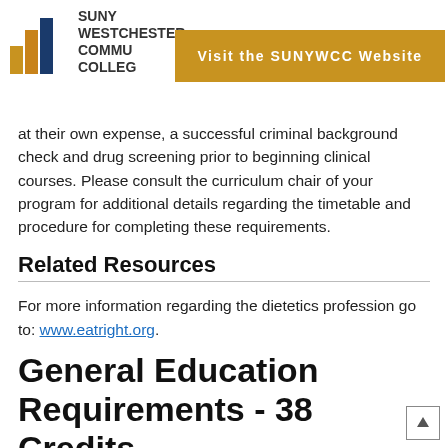SUNY WESTCHESTER COMMUNITY COLLEGE | Visit the SUNYWCC Website
at their own expense, a successful criminal background check and drug screening prior to beginning clinical courses. Please consult the curriculum chair of your program for additional details regarding the timetable and procedure for completing these requirements.
Related Resources
For more information regarding the dietetics profession go to: www.eatright.org.
General Education Requirements - 38 Credits
Students are required to fulfill a certain number of